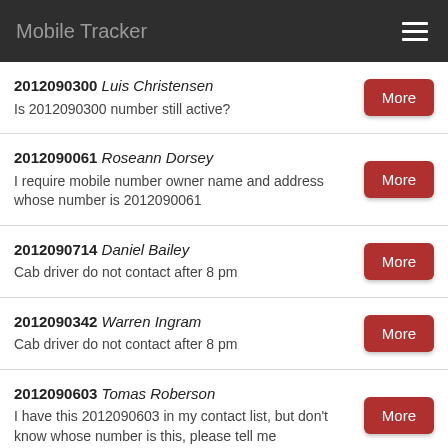Mobile Tracker
2012090300 Luis Christensen
Is 2012090300 number still active?
2012090061 Roseann Dorsey
I require mobile number owner name and address whose number is 2012090061
2012090714 Daniel Bailey
Cab driver do not contact after 8 pm
2012090342 Warren Ingram
Cab driver do not contact after 8 pm
2012090603 Tomas Roberson
I have this 2012090603 in my contact list, but don't know whose number is this, please tell me